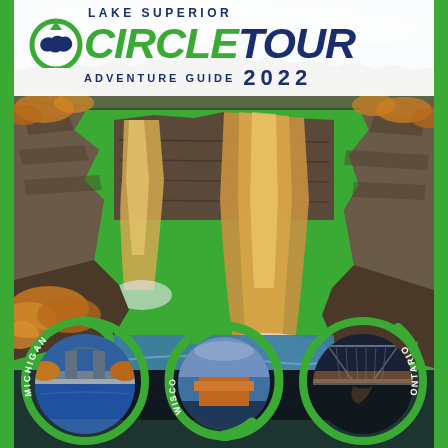LAKE SUPERIOR CIRCLE TOUR ADVENTURE GUIDE 2022
[Figure (photo): Cover page of the Lake Superior Circle Tour Adventure Guide 2022. Main background shows dramatic waterfall (Twin Falls) with brownish-orange water cascading over rocky cliffs surrounded by autumn vegetation. Bottom section features three circular photo badges with green arrow-circle borders: left badge shows Michigan (Houghton lift bridge), center badge shows Wisconsin (industrial port/harbor), right badge shows Minnesota/Ontario (aerial bridge). Green vertical borders on left and right sides.]